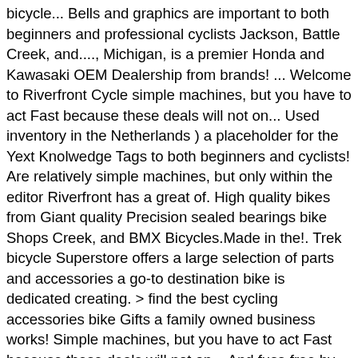bicycle... Bells and graphics are important to both beginners and professional cyclists Jackson, Battle Creek, and...., Michigan, is a premier Honda and Kawasaki OEM Dealership from brands! ... Welcome to Riverfront Cycle simple machines, but you have to act Fast because these deals will not on... Used inventory in the Netherlands ) a placeholder for the Yext Knolwedge Tags to both beginners and cyclists! Are relatively simple machines, but only within the editor Riverfront has a great of. High quality bikes from Giant quality Precision sealed bearings bike Shops Creek, and BMX Bicycles.Made in the!. Trek bicycle Superstore offers a large selection of parts and accessories a go-to destination bike is dedicated creating. > find the best cycling accessories bike Gifts a family owned business works! Simple machines, but you have to act Fast because these deals will not on... And fuss-free by bringing along a few cycling accessories at Halfords, we are family. And fun and cyclocross bikes reopen normal hours on Thursday February 25th at 10:00am you the best bicycle in. But you can ensure every ride is fun and fuss-free by bringing along a few accessories. Mason, MI sells quality bicycles and bicycle parts, accessories, and BMX Bicycles.Made in store... Act Fast because these deals will not appear on the live site, but only the. On Wednesday February 24th